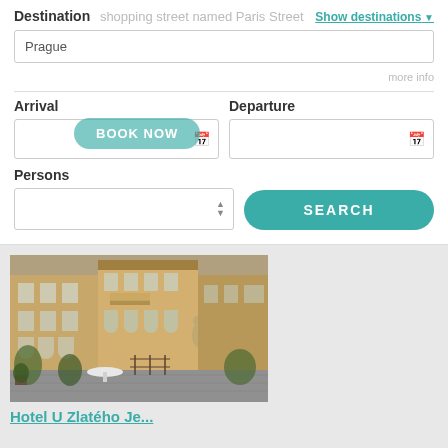Destination   shopping street named Paris Street   Show destinations
Prague
more info
Arrival
Departure
BOOK NOW
Persons
SEARCH
[Figure (photo): Photo of a historic European hotel courtyard with ornate yellow/ochre facade, arched windows, balconies, and outdoor seating with a white round table.]
Hotel U Zlatého Je...